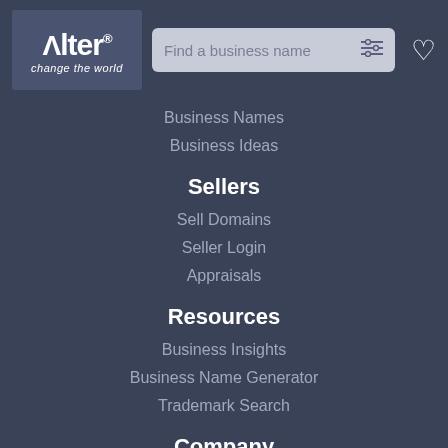[Figure (logo): Alter logo with tagline 'change the world' on dark blue-grey background]
Business Names
Business Ideas
Sellers
Sell Domains
Seller Login
Appraisals
Resources
Business Insights
Business Name Generator
Trademark Search
Company
About Us
Careers
Legal
Follo